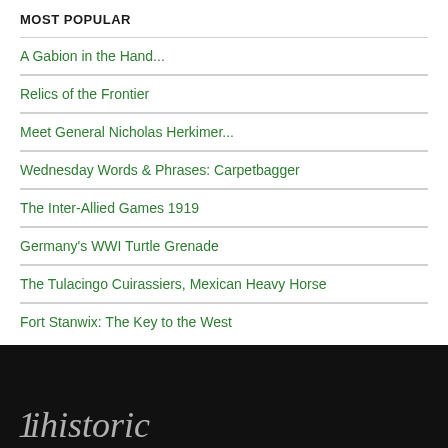MOST POPULAR
A Gabion in the Hand...
Relics of the Frontier
Meet General Nicholas Herkimer...
Wednesday Words & Phrases: Carpetbagger
The Inter-Allied Games 1919
Germany's WWI Turtle Grenade
The Tulacingo Cuirassiers, Mexican Heavy Horse
Fort Stanwix: The Key to the West
[Figure (other): Dark footer area with partial italic serif text visible, appears to be a logo or site name beginning with letters resembling 'Histori...']